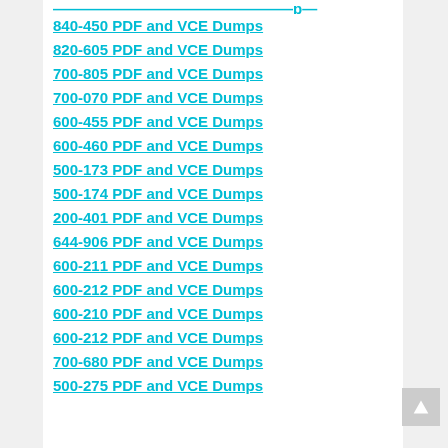840-450 PDF and VCE Dumps
820-605 PDF and VCE Dumps
700-805 PDF and VCE Dumps
700-070 PDF and VCE Dumps
600-455 PDF and VCE Dumps
600-460 PDF and VCE Dumps
500-173 PDF and VCE Dumps
500-174 PDF and VCE Dumps
200-401 PDF and VCE Dumps
644-906 PDF and VCE Dumps
600-211 PDF and VCE Dumps
600-212 PDF and VCE Dumps
600-210 PDF and VCE Dumps
600-212 PDF and VCE Dumps
700-680 PDF and VCE Dumps
500-275 PDF and VCE Dumps